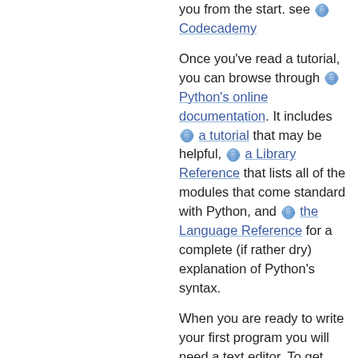you from the start. see [globe] Codecademy
Once you've read a tutorial, you can browse through [globe] Python's online documentation. It includes [globe] a tutorial that may be helpful, [globe] a Library Reference that lists all of the modules that come standard with Python, and [globe] the Language Reference for a complete (if rather dry) explanation of Python's syntax.
When you are ready to write your first program you will need a text editor. To get started you can use any